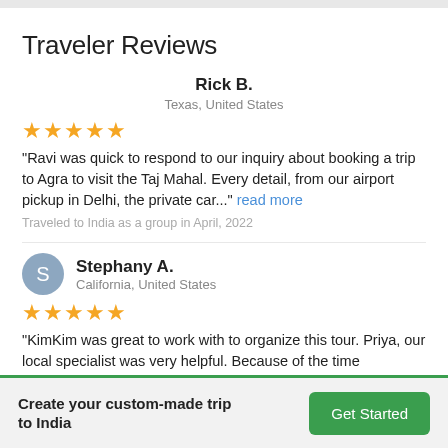Traveler Reviews
Rick B.
Texas, United States
★★★★★
"Ravi was quick to respond to our inquiry about booking a trip to Agra to visit the Taj Mahal. Every detail, from our airport pickup in Delhi, the private car..." read more
Traveled to India as a group in April, 2022
S — Stephany A.
California, United States
★★★★★
"KimKim was great to work with to organize this tour. Priya, our local specialist was very helpful. Because of the time difference, it usually took 1 day to ..." read more
Create your custom-made trip to India
Get Started